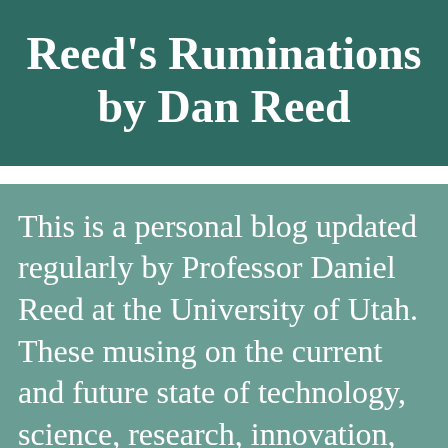Reed's Ruminations by Dan Reed
This is a personal blog updated regularly by Professor Daniel Reed at the University of Utah. These musing on the current and future state of technology, science, research, innovation, and personal life are my own and don't necessarily reflect the University of Utah's positions, views, or opinions.